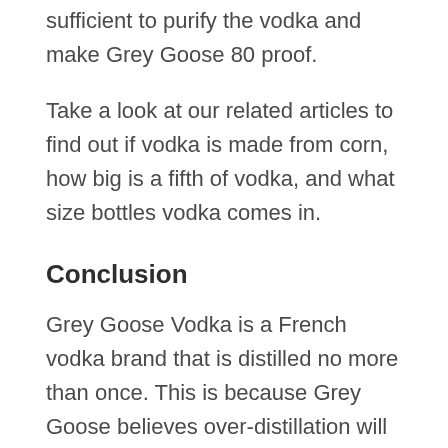sufficient to purify the vodka and make Grey Goose 80 proof.
Take a look at our related articles to find out if vodka is made from corn, how big is a fifth of vodka, and what size bottles vodka comes in.
Conclusion
Grey Goose Vodka is a French vodka brand that is distilled no more than once. This is because Grey Goose believes over-distillation will rob the vodka of its flavor.